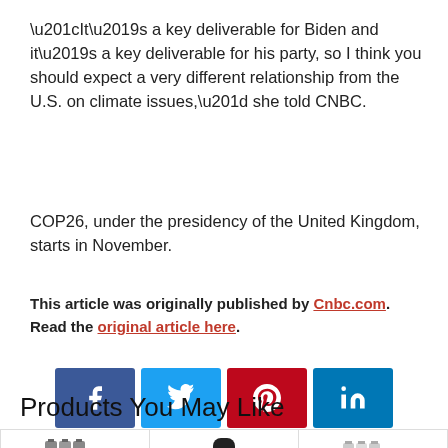“It’s a key deliverable for Biden and it’s a key deliverable for his party, so I think you should expect a very different relationship from the U.S. on climate issues,” she told CNBC.
COP26, under the presidency of the United Kingdom, starts in November.
This article was originally published by Cnbc.com. Read the original article here.
[Figure (other): Social media sharing buttons: Facebook, Twitter, Pinterest, LinkedIn]
Products You May Like
[Figure (photo): Product images: batteries and battery charger]